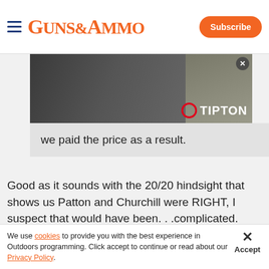GUNS&AMMO
[Figure (photo): Advertisement banner showing a person with a rifle/gun equipment, with TIPTON logo in bottom right and a close button in top right corner.]
we paid the price as a result.
Good as it sounds with the 20/20 hindsight that shows us Patton and Churchill were RIGHT, I suspect that would have been. . .complicated.
First problem was that the Allies been slugging it out in Europe for five years.  Everybody was tired and
We use cookies to provide you with the best experience in Outdoors programming. Click accept to continue or read about our Privacy Policy.